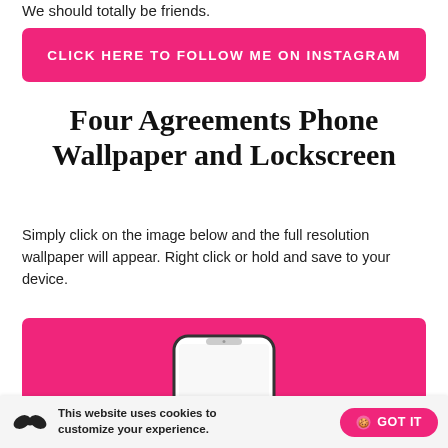We should totally be friends.
CLICK HERE TO FOLLOW ME ON INSTAGRAM
Four Agreements Phone Wallpaper and Lockscreen
Simply click on the image below and the full resolution wallpaper will appear. Right click or hold and save to your device.
[Figure (photo): Pink background with a white smartphone (iPhone-style) showing a wallpaper preview, partially visible at bottom of the frame.]
This website uses cookies to customize your experience.